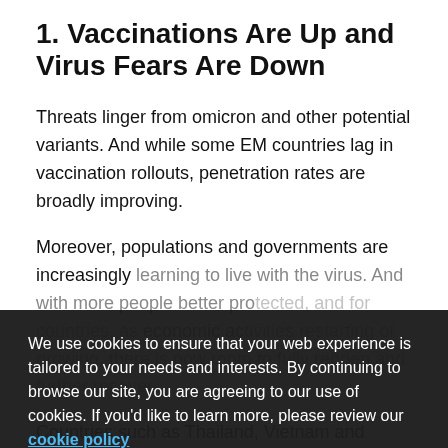1. Vaccinations Are Up and Virus Fears Are Down
Threats linger from omicron and other potential variants. And while some EM countries lag in vaccination rollouts, penetration rates are broadly improving.
Moreover, populations and governments are increasingly learning to live with the virus. And with more people better protected, and for countries, as economic activities restarting or growing, there is now room to fully reopen and further recover.
Countries such as Thailand, Vietnam and Indonesia have also dramatically...
We use cookies to ensure that your web experience is tailored to your needs and interests. By continuing to browse our site, you are agreeing to our use of cookies. If you'd like to learn more, please review our cookie policy